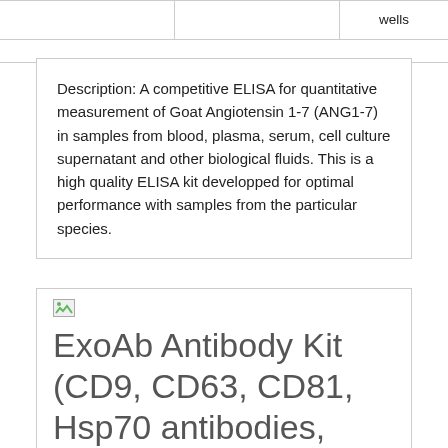|  |  | wells |
| --- | --- | --- |
|  |
Description: A competitive ELISA for quantitative measurement of Goat Angiotensin 1-7 (ANG1-7) in samples from blood, plasma, serum, cell culture supernatant and other biological fluids. This is a high quality ELISA kit developped for optimal performance with samples from the particular species.
ExoAb Antibody Kit (CD9, CD63, CD81, Hsp70 antibodies, rabbit anti-human) with goat anti-